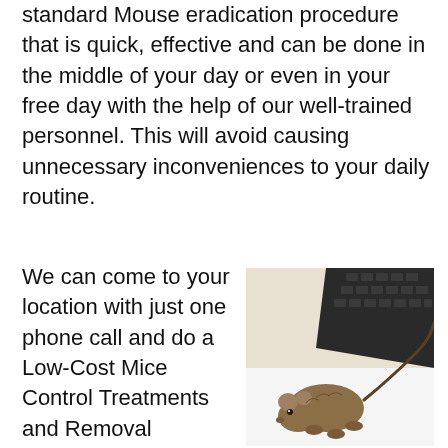standard Mouse eradication procedure that is quick, effective and can be done in the middle of your day or even in your free day with the help of our well-trained personnel. This will avoid causing unnecessary inconveniences to your daily routine.
We can come to your location with just one phone call and do a Low-Cost Mice Control Treatments and Removal Service. We have unmarked cars for enhanced confidentiality; this is especially beneficial if you interact with customers while solving the problem. We follow all current laws governing safe and humane pest control.
[Figure (photo): A brown mouse photographed next to a laptop keyboard on a white surface, viewed from above at an angle.]